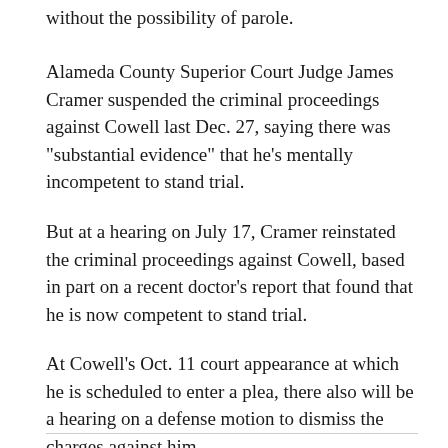without the possibility of parole.
Alameda County Superior Court Judge James Cramer suspended the criminal proceedings against Cowell last Dec. 27, saying there was "substantial evidence" that he's mentally incompetent to stand trial.
But at a hearing on July 17, Cramer reinstated the criminal proceedings against Cowell, based in part on a recent doctor's report that found that he is now competent to stand trial.
At Cowell's Oct. 11 court appearance at which he is scheduled to enter a plea, there also will be a hearing on a defense motion to dismiss the charges against him.